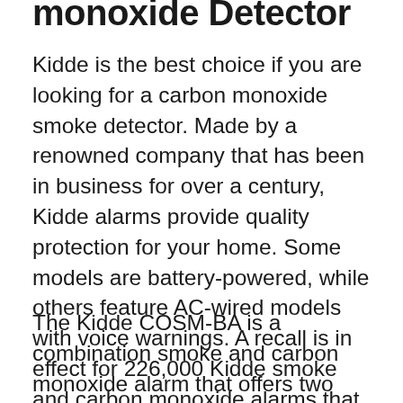…monoxide Detector
Kidde is the best choice if you are looking for a carbon monoxide smoke detector. Made by a renowned company that has been in business for over a century, Kidde alarms provide quality protection for your home. Some models are battery-powered, while others feature AC-wired models with voice warnings. A recall is in effect for 226,000 Kidde smoke and carbon monoxide alarms that were sold between May 2019 and September 2020.
The Kidde COSM-BA is a combination smoke and carbon monoxide alarm that offers two essential safety devices in a single device. The Kidde alarms have a voice warning…